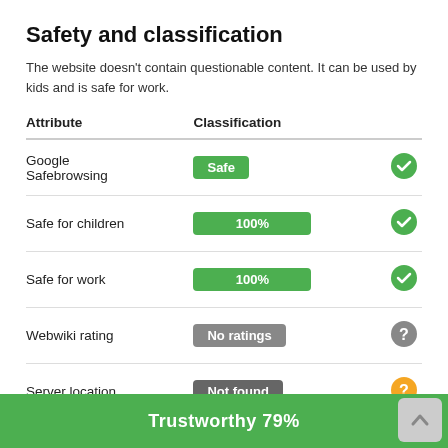Safety and classification
The website doesn't contain questionable content. It can be used by kids and is safe for work.
| Attribute | Classification |  |
| --- | --- | --- |
| Google Safebrowsing | Safe | ✓ |
| Safe for children | 100% | ✓ |
| Safe for work | 100% | ✓ |
| Webwiki rating | No ratings | ? |
| Server location | Not found | ? |
Trustworthy 79%